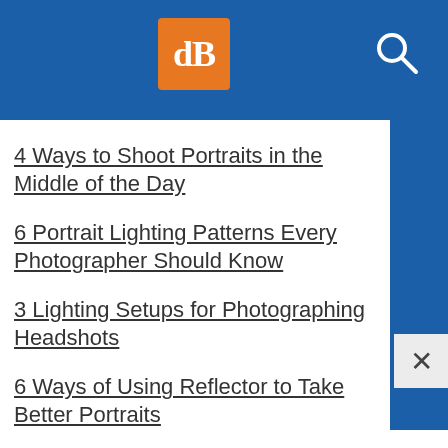[Figure (logo): dPS logo - orange square with white dB letter mark, on blue header bar with search icon]
4 Ways to Shoot Portraits in the Middle of the Day
6 Portrait Lighting Patterns Every Photographer Should Know
3 Lighting Setups for Photographing Headshots
6 Ways of Using Reflector to Take Better Portraits
How to Create and Shoot Night Portraits
How to Make Beautiful Portraits Using Flash and High-Speed Sync